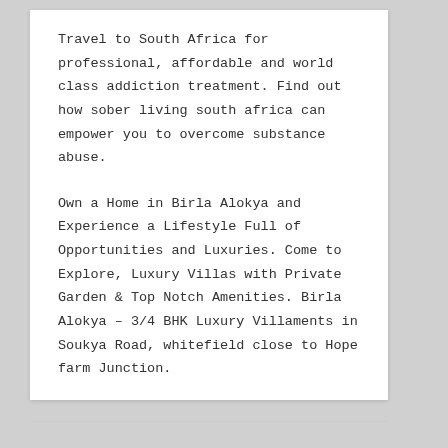Travel to South Africa for professional, affordable and world class addiction treatment. Find out how sober living south africa can empower you to overcome substance abuse.
Own a Home in Birla Alokya and Experience a Lifestyle Full of Opportunities and Luxuries. Come to Explore, Luxury Villas with Private Garden & Top Notch Amenities. Birla Alokya – 3/4 BHK Luxury Villaments in Soukya Road, whitefield close to Hope farm Junction.